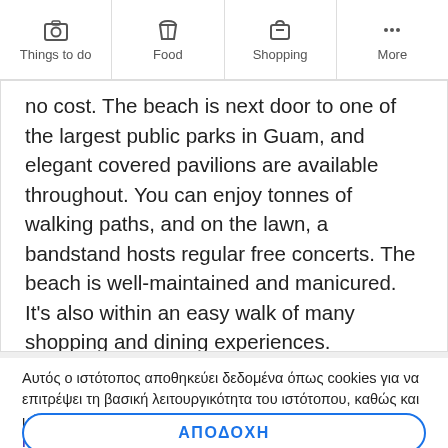Things to do | Food | Shopping | More
no cost. The beach is next door to one of the largest public parks in Guam, and elegant covered pavilions are available throughout. You can enjoy tonnes of walking paths, and on the lawn, a bandstand hosts regular free concerts. The beach is well-maintained and manicured. It's also within an easy walk of many shopping and dining experiences.
Αυτός ο ιστότοπος αποθηκεύει δεδομένα όπως cookies για να επιτρέψει τη βασική λειτουργικότητα του ιστότοπου, καθώς και μάρκετινγκ, εξατομίκευση και αναλυτικά στοιχεία. Πολιτική cookie
ΑΠΟΔΟΧΗ